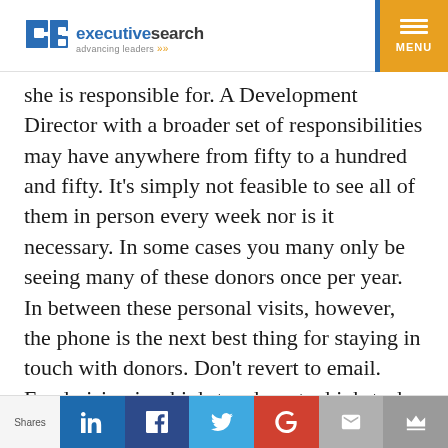db executivesearch advancing leaders
she is responsible for. A Development Director with a broader set of responsibilities may have anywhere from fifty to a hundred and fifty. It's simply not feasible to see all of them in person every week nor is it necessary. In some cases you many only be seeing many of these donors once per year. In between these personal visits, however, the phone is the next best thing for staying in touch with donors. Don't revert to email. Fundraising is a high-touch, not a high-tech business and a live voice on the phone trumps a typed message in terms of personal touch.
Shares | LinkedIn | Facebook | Twitter | Google+ | Email | Crown